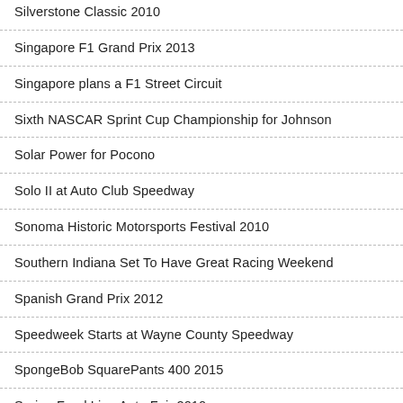Silverstone Classic 2010
Singapore F1 Grand Prix 2013
Singapore plans a F1 Street Circuit
Sixth NASCAR Sprint Cup Championship for Johnson
Solar Power for Pocono
Solo II at Auto Club Speedway
Sonoma Historic Motorsports Festival 2010
Southern Indiana Set To Have Great Racing Weekend
Spanish Grand Prix 2012
Speedweek Starts at Wayne County Speedway
SpongeBob SquarePants 400 2015
Spring Food Lion Auto Fair 2010
Sprint Car Hall of Fame Inductions